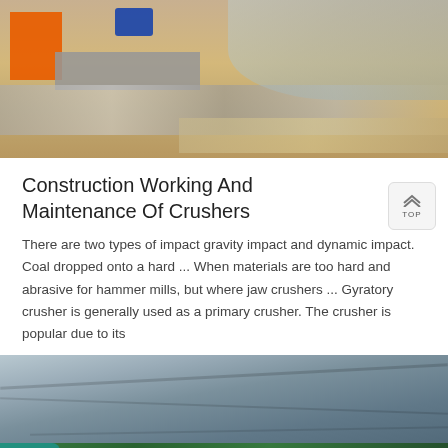[Figure (photo): Aerial/overhead photo of a construction or quarry site with orange machinery, blue motor, and rocky/sandy terrain]
Construction Working And Maintenance Of Crushers
There are two types of impact gravity impact and dynamic impact. Coal dropped onto a hard ... When materials are too hard and abrasive for hammer mills, but where jaw crushers ... Gyratory crusher is generally used as a primary crusher. The crusher is popular due to its
[Figure (photo): Photo of a rocky cliff face/quarry wall with green vegetation at the bottom, with an orange chat bar overlay at the bottom showing a customer service representative and Message / Online Chat buttons]